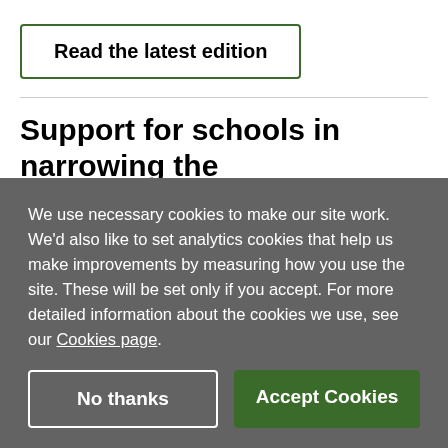Read the latest edition
Support for schools in narrowing the
We use necessary cookies to make our site work. We'd also like to set analytics cookies that help us make improvements by measuring how you use the site. These will be set only if you accept. For more detailed information about the cookies we use, see our Cookies page.
No thanks
Accept Cookies